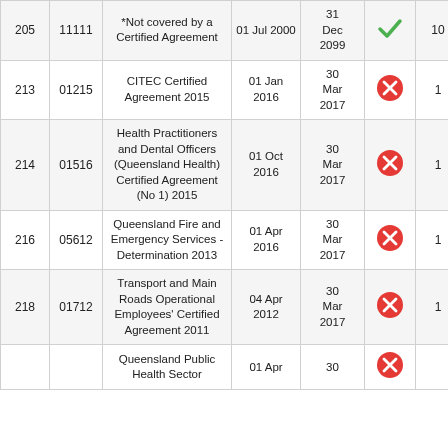|  |  | Agreement Name | Start Date | End Date | Status | Count | N |
| --- | --- | --- | --- | --- | --- | --- | --- |
| 205 | 11111 | *Not covered by a Certified Agreement | 01 Jul 2000 | 31 Dec 2099 | ✓ | 10 | 22 M |
| 213 | 01215 | CITEC Certified Agreement 2015 | 01 Jan 2016 | 30 Mar 2017 | ✗ | 1 | 19 A |
| 214 | 01516 | Health Practitioners and Dental Officers (Queensland Health) Certified Agreement (No 1) 2015 | 01 Oct 2016 | 30 Mar 2017 | ✗ | 1 | 19 A |
| 216 | 05612 | Queensland Fire and Emergency Services - Determination 2013 | 01 Apr 2016 | 30 Mar 2017 | ✗ | 1 | 19 A |
| 218 | 01712 | Transport and Main Roads Operational Employees' Certified Agreement 2011 | 04 Apr 2012 | 30 Mar 2017 | ✗ | 1 | 19 A |
|  |  | Queensland Public Health Sector | 01 Apr | 30 | ✗ |  |  |